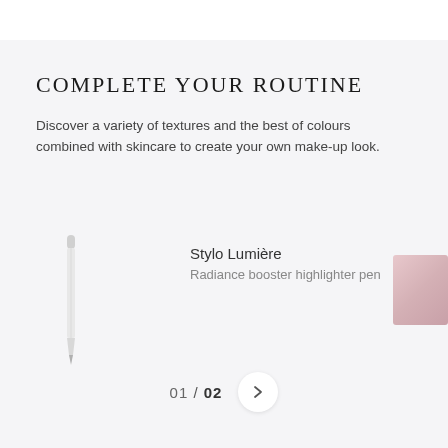COMPLETE YOUR ROUTINE
Discover a variety of textures and the best of colours combined with skincare to create your own make-up look.
[Figure (photo): A slender white/silver highlighter pen product standing upright on the left, and a partially visible pink makeup palette on the right edge.]
Stylo Lumière
Radiance booster highlighter pen
01 / 02 >